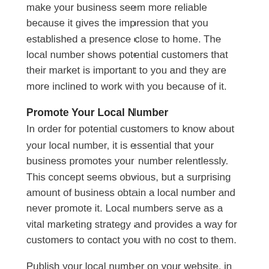make your business seem more reliable because it gives the impression that you established a presence close to home. The local number shows potential customers that their market is important to you and they are more inclined to work with you because of it.
Promote Your Local Number
In order for potential customers to know about your local number, it is essential that your business promotes your number relentlessly. This concept seems obvious, but a surprising amount of business obtain a local number and never promote it. Local numbers serve as a vital marketing strategy and provides a way for customers to contact you with no cost to them.
Publish your local number on your website, in your emails, on your special offers that appear on your local page in any directories. Your Google Local page, your LinkedIn profile, your Facebook profile, your company Twitter profile, and the footer of every email you send should